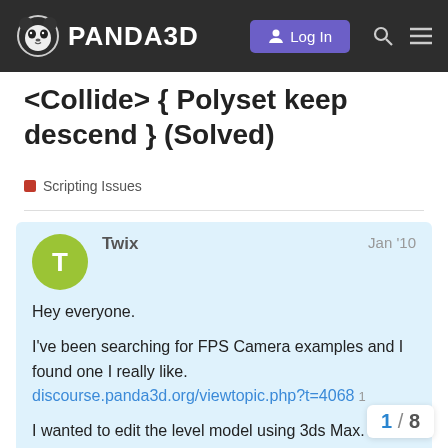PANDA3D — Log In
<Collide> { Polyset keep descend } (Solved)
Scripting Issues
Twix   Jan '10

Hey everyone.

I've been searching for FPS Camera examples and I found one I really like.
discourse.panda3d.org/viewtopic.php?t=4068 1

I wanted to edit the level model using 3ds Max. Just added simple non-textured single-sided plane and named it Ground and exported as model. After that, I opened my exported model with Notepad and saw Polyset keep descend } after "Randc
1 / 8